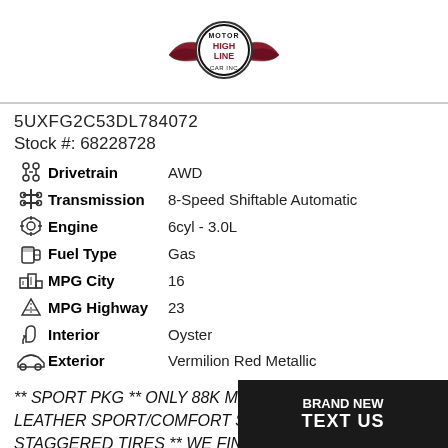[Figure (logo): Motor High Line Car Inc logo with wings and circular emblem]
5UXFG2C53DL784072
Stock #: 68228728
Drivetrain: AWD
Transmission: 8-Speed Shiftable Automatic
Engine: 6cyl - 3.0L
Fuel Type: Gas
MPG City: 16
MPG Highway: 23
Interior: Oyster
Exterior: Vermilion Red Metallic
** SPORT PKG ** ONLY 88K MILES ** HEATED LEATHER SPORT/COMFORT SEATS ** BRAND NEW 20" STAGGERED TIRES ** WE FINANCE & SHIP NATIONWIDE ** CALL OR EMAIL US @ 585662 5500